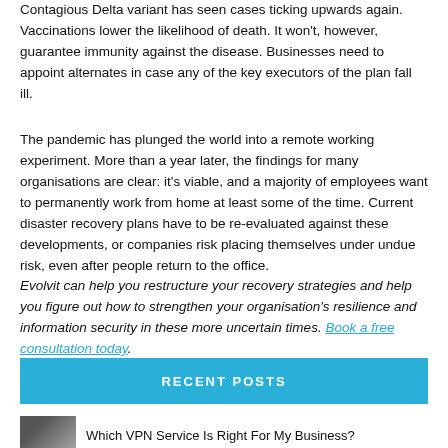Contagious Delta variant has seen cases ticking upwards again. Vaccinations lower the likelihood of death. It won't, however, guarantee immunity against the disease. Businesses need to appoint alternates in case any of the key executors of the plan fall ill.
The pandemic has plunged the world into a remote working experiment. More than a year later, the findings for many organisations are clear: it's viable, and a majority of employees want to permanently work from home at least some of the time. Current disaster recovery plans have to be re-evaluated against these developments, or companies risk placing themselves under undue risk, even after people return to the office. Evolvit can help you restructure your recovery strategies and help you figure out how to strengthen your organisation's resilience and information security in these more uncertain times. Book a free consultation today.
RECENT POSTS
Which VPN Service Is Right For My Business?